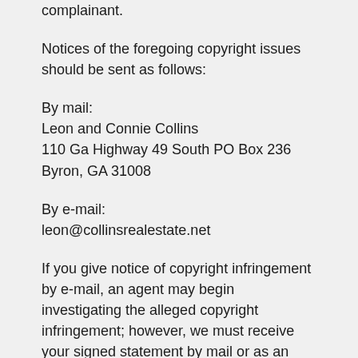complainant.
Notices of the foregoing copyright issues should be sent as follows:
By mail:
Leon and Connie Collins
110 Ga Highway 49 South PO Box 236
Byron, GA 31008
By e-mail:
leon@collinsrealestate.net
If you give notice of copyright infringement by e-mail, an agent may begin investigating the alleged copyright infringement; however, we must receive your signed statement by mail or as an attachment to your e-mail before we are required to take any action.
This information should not be construed as legal advice. We recommend you seek independent legal counsel before filing a notification or